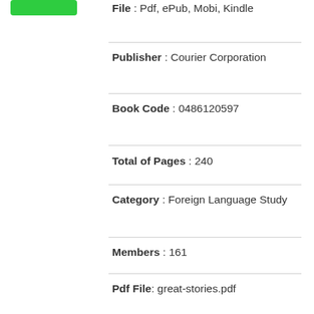[Figure (other): Green button/badge in top-left area]
File : Pdf, ePub, Mobi, Kindle
Publisher : Courier Corporation
Book Code : 0486120597
Total of Pages : 240
Category : Foreign Language Study
Members : 161
Pdf File: great-stories.pdf